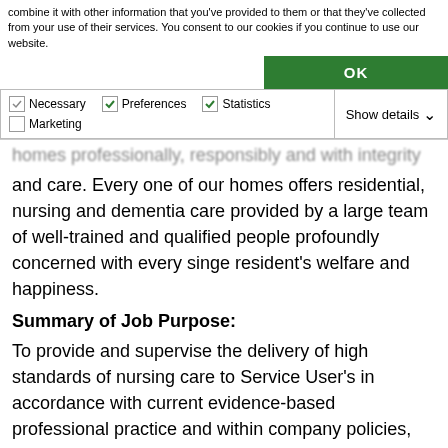combine it with other information that you've provided to them or that they've collected from your use of their services. You consent to our cookies if you continue to use our website.
OK
| Necessary | Preferences | Statistics | Show details |
| Marketing |  |  |  |
homes professionally, responsibly and with integrity and care. Every one of our homes offers residential, nursing and dementia care provided by a large team of well-trained and qualified people profoundly concerned with every singe resident's welfare and happiness.
Summary of Job Purpose:
To provide and supervise the delivery of high standards of nursing care to Service User's in accordance with current evidence-based professional practice and within company policies, Care Quality Commission standards and regulations, and current legislation.
Responsibilities and Duties